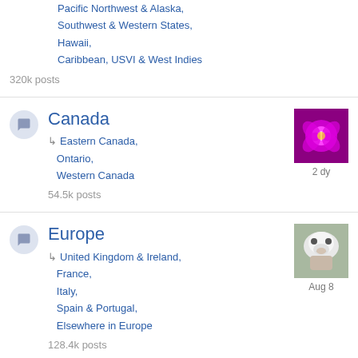Pacific Northwest & Alaska, Southwest & Western States, Hawaii, Caribbean, USVI & West Indies
320k posts
Canada — Eastern Canada, Ontario, Western Canada
54.5k posts
Europe — United Kingdom & Ireland, France, Italy, Spain & Portugal, Elsewhere in Europe
128.4k posts